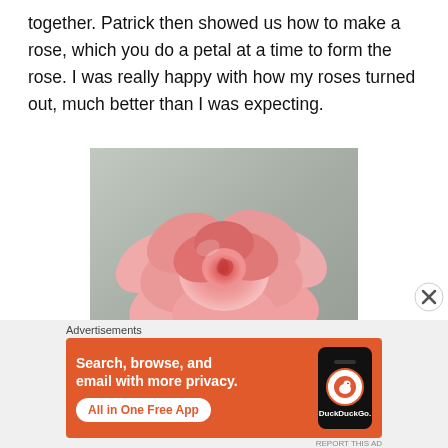together. Patrick then showed us how to make a rose, which you do a petal at a time to form the rose. I was really happy with how my roses turned out, much better than I was expecting.
[Figure (photo): A pink/red fondant or sugar-craft rose sitting on a metallic surface, showing spiral petal arrangement.]
Advertisements
[Figure (other): DuckDuckGo advertisement banner: orange background with white text 'Search, browse, and email with more privacy.' and 'All in One Free App' button, with a phone mockup showing DuckDuckGo logo on the right.]